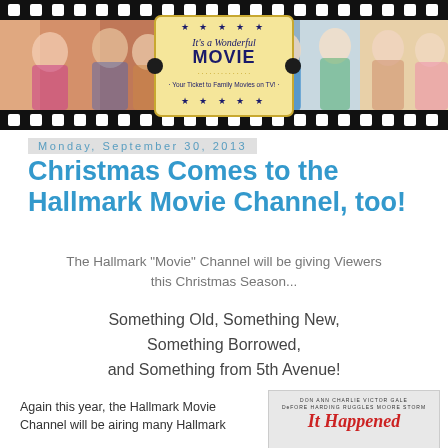[Figure (illustration): Film strip banner with 'It's a Wonderful MOVIE - Your Ticket to Family Movies on TV!' ticket logo in center, couple photos on left, medical/lifestyle photos on right, on dark film strip background with perforations]
Monday, September 30, 2013
Christmas Comes to the Hallmark Movie Channel, too!
The Hallmark "Movie" Channel will be giving Viewers this Christmas Season...
Something Old, Something New, Something Borrowed, and Something from 5th Avenue!
Again this year, the Hallmark Movie Channel will be airing many Hallmark
[Figure (photo): Movie poster or title card showing cast names: DON DeFORE, ANN HARDING, CHARLIE RUGGLES, VICTOR MOORE, GALE STORM, with red stylized title 'IT HAPPENED']